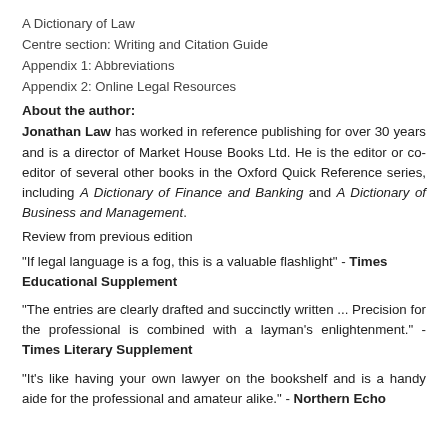A Dictionary of Law
Centre section: Writing and Citation Guide
Appendix 1: Abbreviations
Appendix 2: Online Legal Resources
About the author:
Jonathan Law has worked in reference publishing for over 30 years and is a director of Market House Books Ltd. He is the editor or co-editor of several other books in the Oxford Quick Reference series, including A Dictionary of Finance and Banking and A Dictionary of Business and Management.
Review from previous edition
"If legal language is a fog, this is a valuable flashlight" - Times Educational Supplement
"The entries are clearly drafted and succinctly written ... Precision for the professional is combined with a layman's enlightenment." - Times Literary Supplement
"It's like having your own lawyer on the bookshelf and is a handy aide for the professional and amateur alike." - Northern Echo